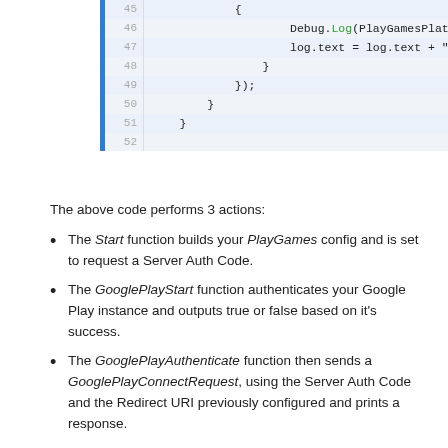[Figure (screenshot): Code block showing lines 45-52 of a C# script with Debug.Log and log.text assignments]
The above code performs 3 actions:
The Start function builds your PlayGames config and is set to request a Server Auth Code.
The GooglePlayStart function authenticates your Google Play instance and outputs true or false based on it's success.
The GooglePlayAuthenticate function then sends a GooglePlayConnectRequest, using the Server Auth Code and the Redirect URI previously configured and prints a response.
4. Now:
Create 2 buttons (Google Start and Google Auth) and a